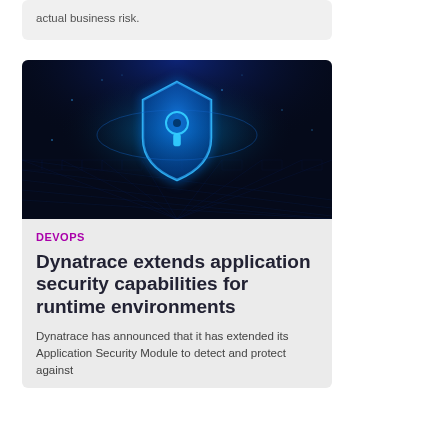actual business risk.
[Figure (photo): Digital cybersecurity image showing a glowing blue shield with a keyhole in the center against a dark blue digital grid background with light rays]
DEVOPS
Dynatrace extends application security capabilities for runtime environments
Dynatrace has announced that it has extended its Application Security Module to detect and protect against